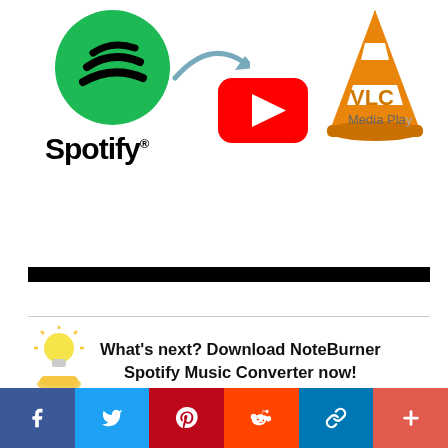[Figure (illustration): Spotify logo (green circle with white sound waves), YouTube logo (red rectangle with white play triangle), VLC Media Player logo (orange traffic cone), with arrow connecting Spotify to YouTube, and VLC with orange 'VLC Media Player' label on right side]
[Figure (infographic): Black horizontal bar separating content sections]
What's next? Download NoteBurner Spotify Music Converter now!
[Figure (infographic): Social share bar with Facebook, Twitter, Pinterest, Reddit, LinkedIn, and More (+) buttons in their brand colors]